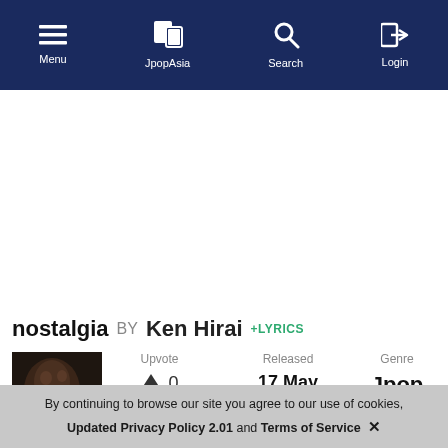Menu | JpopAsia | Search | Login
[Figure (other): Advertisement / blank white space area]
nostalgia BY Ken Hirai +LYRICS
[Figure (photo): Album art thumbnail - dark portrait photo of Ken Hirai]
Upvote ↑ 0
Released 17 May 2004
Genre Jpop
By continuing to browse our site you agree to our use of cookies, Updated Privacy Policy 2.01 and Terms of Service ✕